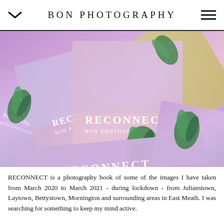BON PHOTOGRAPHY
[Figure (photo): Multiple copies of the 'RECONNECT BON PHOTOGRAPHY' book arranged overlapping each other, showing pastel purple/lavender covers with a green sculptural figure on each cover, photographed from above.]
RECONNECT is a photography book of some of the images I have taken from March 2020 to March 2021 - during lockdown  - from Julianstown, Laytown, Bettystown, Mornington and surrounding areas in East Meath.  I was searching for something to keep my mind active.